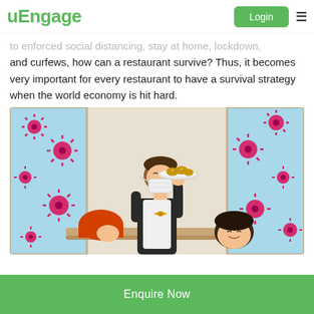uEngage | Login
to enforced social distancing, stay at home, lockdown, and curfews, how can a restaurant survive? Thus, it becomes very important for every restaurant to have a survival strategy when the world economy is hit hard.
[Figure (illustration): Illustration of a masked waiter serving food at a restaurant during COVID-19 pandemic. Two diners are seated at a table. Pink virus particles float in the blue windows behind. The waiter wears a face mask and bow tie.]
Enquire Now